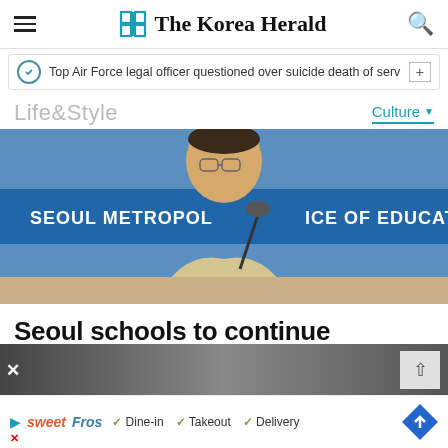The Korea Herald
Top Air Force legal officer questioned over suicide death of servic···
Life&Style
Culture
[Figure (photo): A man in a light yellow jacket speaking at a press conference in front of a blue banner reading 'SEOUL METROPOLITAN OFFICE OF EDUCATION']
Seoul schools to continue 'normalcy attendance' amid resurgence
[Figure (photo): Bottom strip showing partial image, close button, and up arrow]
sweetFros ✓ Dine-in ✓ Takeout ✓ Delivery